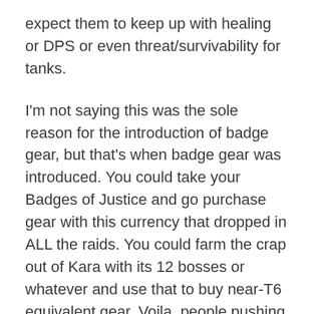expect them to keep up with healing or DPS or even threat/survivability for tanks.
I'm not saying this was the sole reason for the introduction of badge gear, but that's when badge gear was introduced. You could take your Badges of Justice and go purchase gear with this currency that dropped in ALL the raids. You could farm the crap out of Kara with its 12 bosses or whatever and use that to buy near-T6 equivalent gear. Voila, people pushing T6 content could now recruit people with halfway decent gear without keeping T5 instances on their raid schedule specifically to gear up the recruits.
That's the start of the Valor Points we use today. It